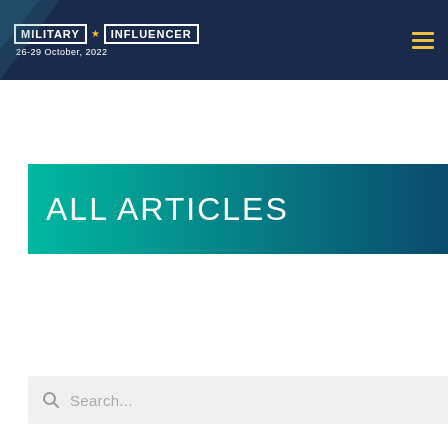MILITARY ★ INFLUENCER — 26-29 October, 2022
ALL ARTICLES
Search...
[Figure (photo): Three-panel image strip: American flag with stars, soldier in camouflage gear and helmet, man in blue suit with black tie on dark background]